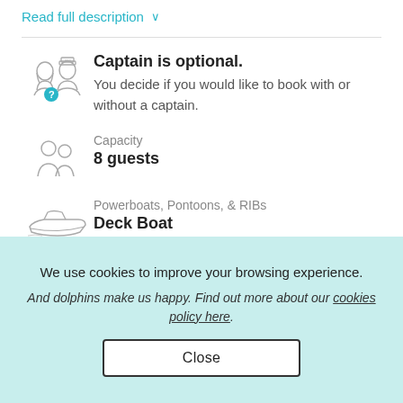Read full description
Captain is optional. You decide if you would like to book with or without a captain.
Capacity
8 guests
Powerboats, Pontoons, & RIBs
Deck Boat
We use cookies to improve your browsing experience.
And dolphins make us happy. Find out more about our cookies policy here.
Close